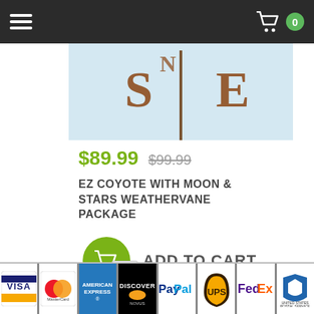Navigation bar with hamburger menu and cart with 0 items
[Figure (photo): Product image of EZ Coyote with Moon & Stars Weathervane showing directional letters on a light blue background]
$89.99  $99.99
EZ COYOTE WITH MOON & STARS WEATHERVANE PACKAGE
ADD TO CART
Page 1 of 5 [ Back | Next ]
[Figure (logo): Payment method logos: Visa, MasterCard, American Express, Discover, PayPal, UPS, FedEx, USPS]